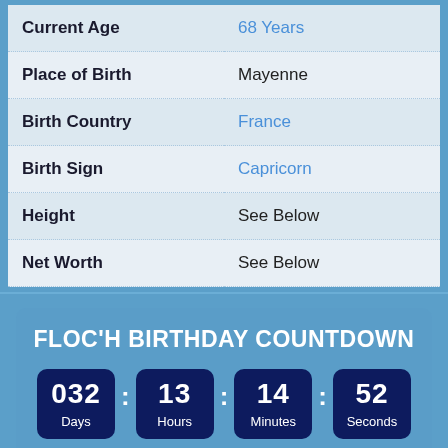| Field | Value |
| --- | --- |
| Current Age | 68 Years |
| Place of Birth | Mayenne |
| Birth Country | France |
| Birth Sign | Capricorn |
| Height | See Below |
| Net Worth | See Below |
FLOC'H BIRTHDAY COUNTDOWN
032 Days : 13 Hours : 14 Minutes : 52 Seconds